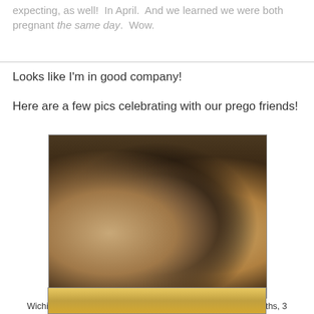expecting, as well!  In April.  And we learned we were both pregnant the same day.  Wow.
Looks like I'm in good company!
Here are a few pics celebrating with our prego friends!
[Figure (photo): Three women standing together smiling in a restaurant/bar setting]
Wichita friends in September minus Heather & Angela -4 months, 3 months, & 1 month along
[Figure (photo): Partial photo visible at bottom of page]